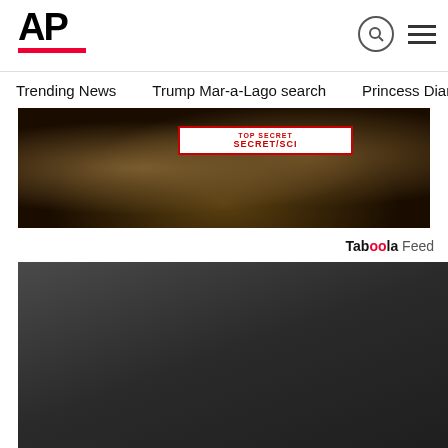AP
Trending News   Trump Mar-a-Lago search   Princess Diana's dea
[Figure (photo): Classified documents laid on a patterned fabric surface, showing a SECRET/SCI cover sheet with red border]
Taboola Feed
[Figure (photo): Two men in dark clothing, one wearing a lanyard reading NCOS, looking downward; a smaller inset shows boxes and text overlay]
Feds cite efforts to obstruct probe of docs at Trump est...